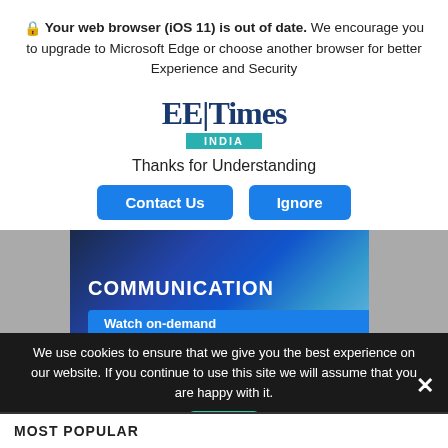🔒 Your web browser (iOS 11) is out of date. We encourage you to upgrade to Microsoft Edge or choose another browser for better Experience and Security
[Figure (logo): EE Times India logo with teal bar]
Thanks for Understanding
Contact Us   Ignore
[Figure (photo): COMMUNICATION banner with satellite image and Watch on-demand button]
We use cookies to ensure that we give you the best experience on our website. If you continue to use this site we will assume that you are happy with it.
Ok
MOST POPULAR